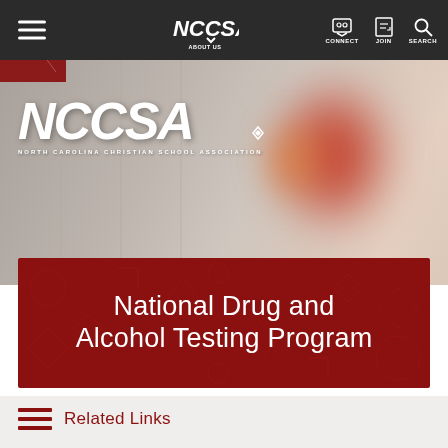NCCSA — ABOUT US | CONNECT | JOIN | SEARCH
[Figure (logo): NCCSA North Carolina Christian School Association logo in white on blurred background photo of lockers]
National Drug and Alcohol Testing Program
Related Links